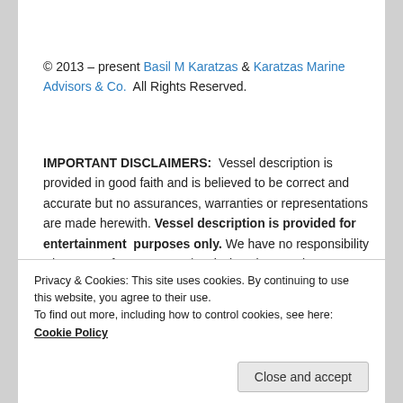© 2013 – present Basil M Karatzas & Karatzas Marine Advisors & Co.  All Rights Reserved.
IMPORTANT DISCLAIMERS:  Vessel description is provided in good faith and is believed to be correct and accurate but no assurances, warranties or representations are made herewith. Vessel description is provided for entertainment  purposes only. We have no responsibility whatsoever for any errors / omissions in vessel description.
Privacy & Cookies: This site uses cookies. By continuing to use this website, you agree to their use.
To find out more, including how to control cookies, see here: Cookie Policy